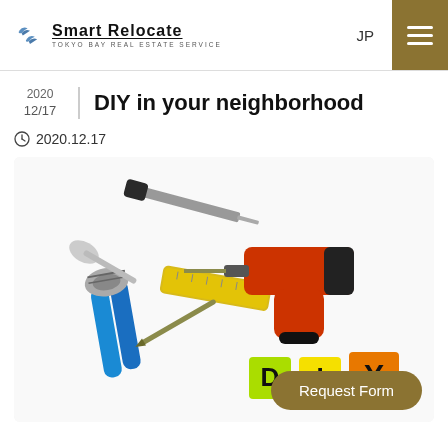Smart Relocate — Tokyo Bay Real Estate Service | JP | Menu
DIY in your neighborhood
2020
12/17
2020.12.17
[Figure (photo): Photo of DIY tools including pliers, screwdriver, tape measure, power drill and bits on a white background, with colorful letter tiles spelling D-I-Y in the foreground.]